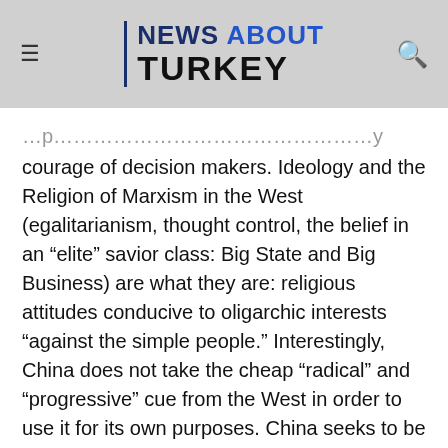NEWS ABOUT TURKEY
courage of decision makers. Ideology and the Religion of Marxism in the West (egalitarianism, thought control, the belief in an “elite” savior class: Big State and Big Business) are what they are: religious attitudes conducive to oligarchic interests “against the simple people.” Interestingly, China does not take the cheap “radical” and “progressive” cue from the West in order to use it for its own purposes. China seeks to be a distinguished player, in front of and above all others. Eastern supremacy, not Western supremacy. That’s remarkable, and a testimony to the high abstract intelligence of the